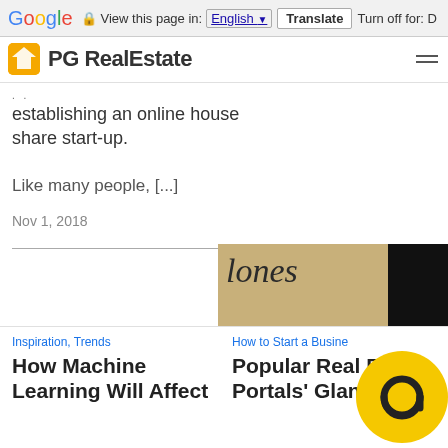Google — View this page in: English [▼] | Translate | Turn off for: D
PG RealEstate
establishing an online house share start-up.
Like many people, [...]
Nov 1, 2018
[Figure (photo): Image showing cursive handwriting with the word 'lones' and a dark background on the right side]
Inspiration, Trends
How Machine Learning Will Affect
How to Start a Business
Popular Real Estate Portals' Glance